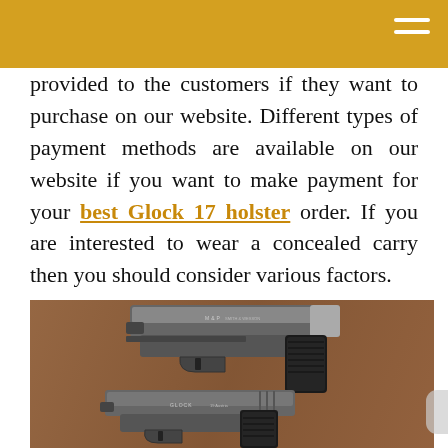provided to the customers if they want to purchase on our website. Different types of payment methods are available on our website if you want to make payment for your best Glock 17 holster order. If you are interested to wear a concealed carry then you should consider various factors.
[Figure (photo): Two handguns placed on a wooden surface. The upper gun is a larger semi-automatic pistol (Smith & Wesson M&P style), and the lower one is a smaller compact pistol (Glock style), both viewed from the side.]